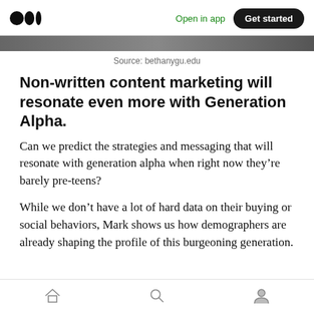Medium logo | Open in app | Get started
[Figure (photo): Partial image strip at top of article]
Source: bethanygu.edu
Non-written content marketing will resonate even more with Generation Alpha.
Can we predict the strategies and messaging that will resonate with generation alpha when right now they’re barely pre-teens?
While we don’t have a lot of hard data on their buying or social behaviors, Mark shows us how demographers are already shaping the profile of this burgeoning generation.
Home | Search | Profile